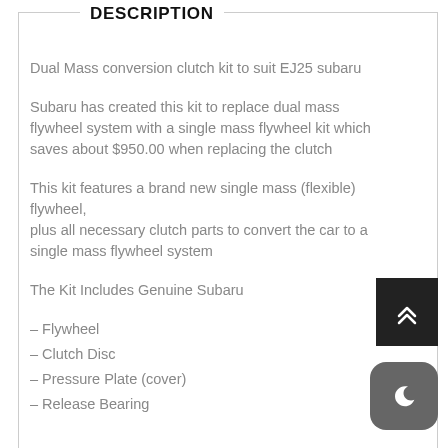DESCRIPTION
Dual Mass conversion clutch kit to suit EJ25 subaru
Subaru has created this kit to replace dual mass flywheel system with a single mass flywheel kit which saves about $950.00 when replacing the clutch
This kit features a brand new single mass (flexible) flywheel,
plus all necessary clutch parts to convert the car to a single mass flywheel system
The Kit Includes Genuine Subaru
– Flywheel
– Clutch Disc
– Pressure Plate (cover)
– Release Bearing